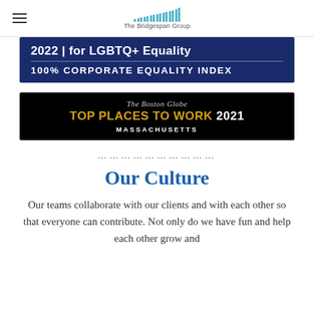The Bridgespan Group
[Figure (logo): The Bridgespan Group logo with bar chart icon and text]
[Figure (infographic): 2022 | for LGBTQ+ Equality — 100% CORPORATE EQUALITY INDEX badge on dark blue background]
[Figure (infographic): The Boston Globe TOP PLACES TO WORK 2021 MASSACHUSETTS badge on black background]
............................
Our Culture
Our teams collaborate with our clients and with each other so that everyone can contribute. Not only do we have fun and help each other grow and